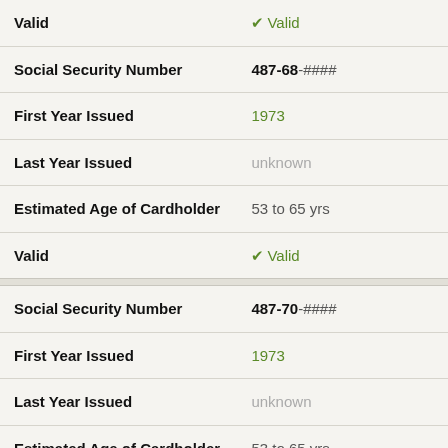| Field | Value |
| --- | --- |
| Valid | ✔ Valid |
| Social Security Number | 487-68-#### |
| First Year Issued | 1973 |
| Last Year Issued | unknown |
| Estimated Age of Cardholder | 53 to 65 yrs |
| Valid | ✔ Valid |
| Social Security Number | 487-70-#### |
| First Year Issued | 1973 |
| Last Year Issued | unknown |
| Estimated Age of Cardholder | 53 to 65 yrs |
| Valid | ✔ Valid |